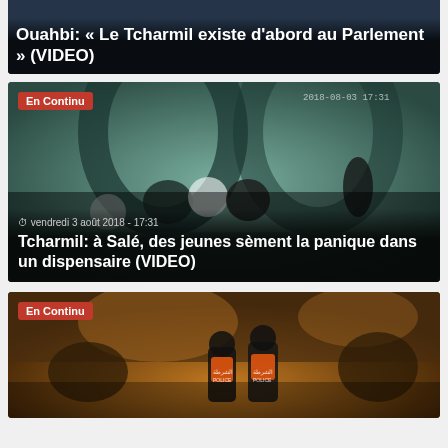Ouahbi: « Le Tcharmil existe d'abord au Parlement » (VIDEO)
[Figure (photo): News article card with headline about Ouahbi and Tcharmil at Parliament, dark background image]
[Figure (photo): Security camera footage of young people causing panic in a dispensary in Salé, with 'En Continu' badge, timestamp vendredi 3 août 2018 - 17:31]
Tcharmil: à Salé, des jeunes sèment la panique dans un dispensaire (VIDEO)
[Figure (photo): Night scene with police officers in orange vests, 'En Continu' badge visible, crowd gathered on a street]